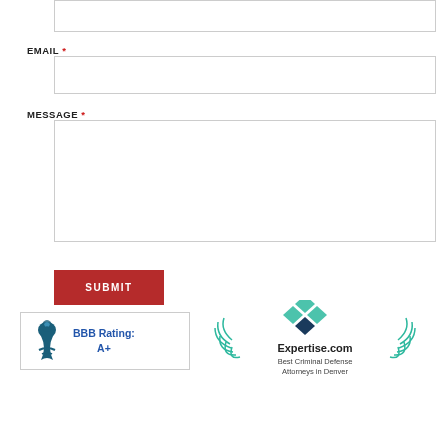(partially visible input field at top)
EMAIL *
MESSAGE *
SUBMIT
[Figure (logo): BBB Rating: A+ badge with blue torch logo and border]
[Figure (logo): Expertise.com Best Criminal Defense Attorneys badge with teal diamond logo and laurel wreath]